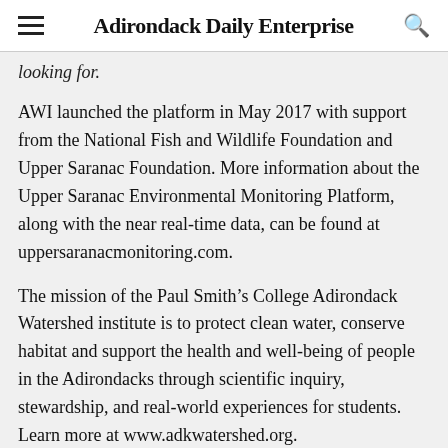Adirondack Daily Enterprise
looking for.
AWI launched the platform in May 2017 with support from the National Fish and Wildlife Foundation and Upper Saranac Foundation. More information about the Upper Saranac Environmental Monitoring Platform, along with the near real-time data, can be found at uppersaranacmonitoring.com.
The mission of the Paul Smith’s College Adirondack Watershed institute is to protect clean water, conserve habitat and support the health and well-being of people in the Adirondacks through scientific inquiry, stewardship, and real-world experiences for students. Learn more at www.adkwatershed.org.